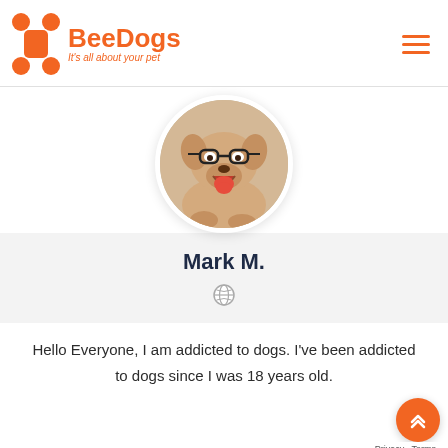[Figure (logo): BeeDogs logo: orange bone icon on the left, bold orange text 'BeeDogs' with italic tagline 'It's all about your pet' below]
[Figure (other): Hamburger menu icon (three orange horizontal lines)]
[Figure (photo): Circular profile photo of a golden retriever dog wearing glasses, mouth open, lying down]
Mark M.
[Figure (other): Small globe/web icon]
Hello Everyone, I am addicted to dogs. I've been addicted to dogs since I was 18 years old.
[Figure (other): Orange circular scroll-to-top button with double up chevron arrows]
Privacy · Terms